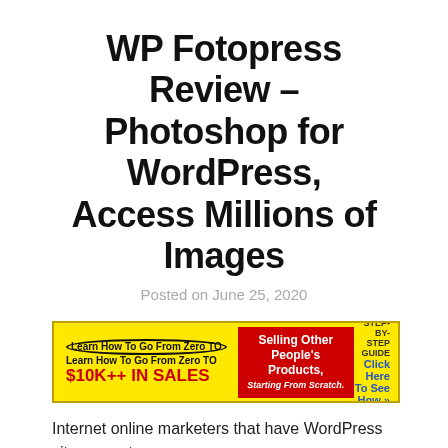WP Fotopress Review – Photoshop for WordPress, Access Millions of Images
Posted on June 25, 2020
[Figure (infographic): Yellow advertisement banner: Learn How To Go From Zero TO $10K++ IN SALES | Selling Other People's Products, Starting From Scratch. | STEP-BY-STEP GUIDE Click Here To See How »]
Internet online marketers that have WordPress sites use at
Read More